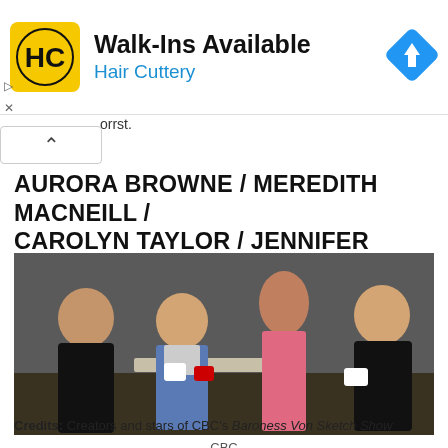[Figure (other): Hair Cuttery advertisement banner with yellow HC logo, text 'Walk-Ins Available' and 'Hair Cuttery', and a blue navigation/map icon on right]
orrst.
AURORA BROWNE / MEREDITH MACNEILL / CAROLYN TAYLOR / JENNIFER WHALEN
[Figure (photo): Four women seated/standing around a table in a studio setting. One in black on far left, one in denim jacket, one in pink dress standing, one in black on far right. Coffee cups on table.]
CBC
Credits: Creators and stars of CBC's Baroness Von Sketch Show